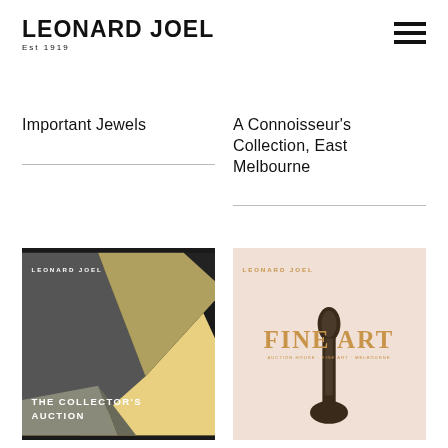LEONARD JOEL Est 1919
Important Jewels
A Connoisseur's Collection, East Melbourne
[Figure (photo): Leonard Joel auction catalog cover with gold and dark abstract shapes. Text reads LEONARD JOEL and THE COLLECTOR'S AUCTION]
[Figure (photo): Leonard Joel Fine Art auction catalog cover with pink/salmon background and dark wood sculpture. Text reads LEONARD JOEL and FINE ART]